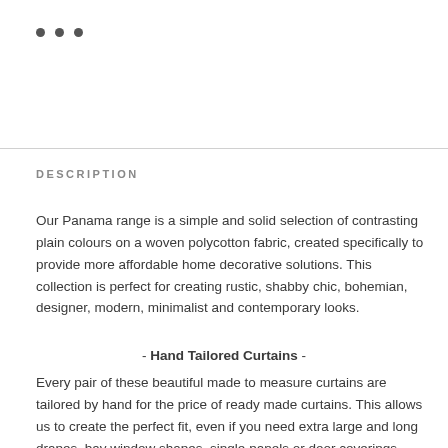[Figure (other): Three small dark circular dots (bullet points) arranged horizontally]
DESCRIPTION
Our Panama range is a simple and solid selection of contrasting plain colours on a woven polycotton fabric, created specifically to provide more affordable home decorative solutions. This collection is perfect for creating rustic, shabby chic, bohemian, designer, modern, minimalist and contemporary looks.
- Hand Tailored Curtains -
Every pair of these beautiful made to measure curtains are tailored by hand for the price of ready made curtains. This allows us to create the perfect fit, even if you need extra large and long drapes, bay window shapes, single panels or door coverings.